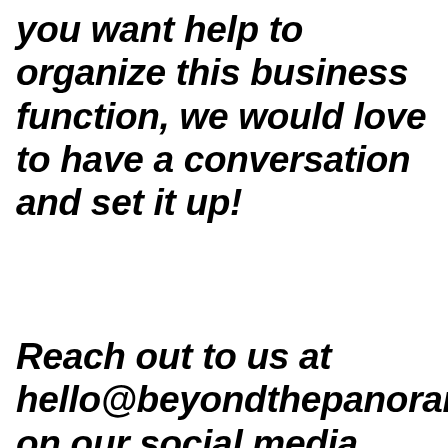you want help to organize this business function, we would love to have a conversation and set it up!
Reach out to us at hello@beyondthepanorama.com on our social media channels.
[Figure (other): Beyond The Panorama social media card with pink circular logo showing BTP initials, company name 'Beyond The Panorama', subtitle 'Storytelling platform and content marketing agency.', and an arrow button. Black bar at bottom.]